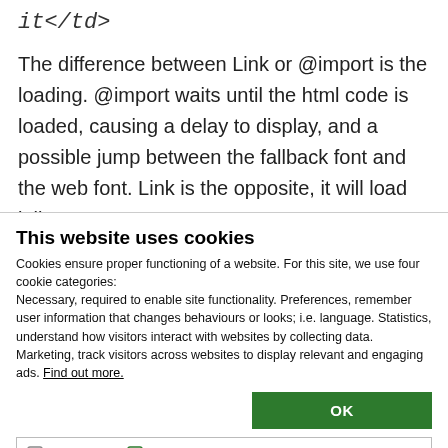it</td>
The difference between Link or @import is the loading. @import waits until the html code is loaded, causing a delay to display, and a possible jump between the fallback font and the web font. Link is the opposite, it will load inline...
This website uses cookies
Cookies ensure proper functioning of a website. For this site, we use four cookie categories:
Necessary, required to enable site functionality. Preferences, remember user information that changes behaviours or looks; i.e. language. Statistics, understand how visitors interact with websites by collecting data. Marketing, track visitors across websites to display relevant and engaging ads. Find out more.
OK
Necessary  Preferences  Statistics  Marketing  Show details